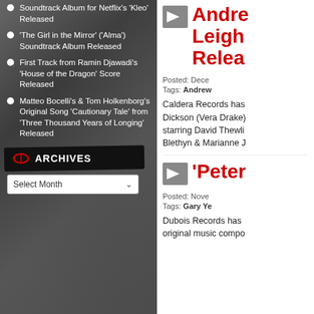Soundtrack Album for Netflix's 'Kleo' Released
'The Girl in the Mirror' ('Alma') Soundtrack Album Released
First Track from Ramin Djawadi's 'House of the Dragon' Score Released
Matteo Bocelli's & Tom Holkenborg's Original Song 'Cautionary Tale' from 'Three Thousand Years of Longing' Released
ARCHIVES
Select Month
Andre Leigh Relea
Posted: Dece
Tags: Andrew
Caldera Records has Dickson (Vera Drake) starring David Thewli Blethyn & Marianne J
'Peter
Posted: Nove
Tags: Gary Ye
Dubois Records has original music compo